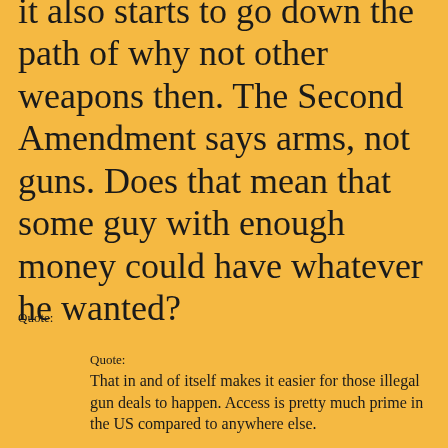it also starts to go down the path of why not other weapons then. The Second Amendment says arms, not guns. Does that mean that some guy with enough money could have whatever he wanted?
Quote:
Quote: That in and of itself makes it easier for those illegal gun deals to happen. Access is pretty much prime in the US compared to anywhere else.